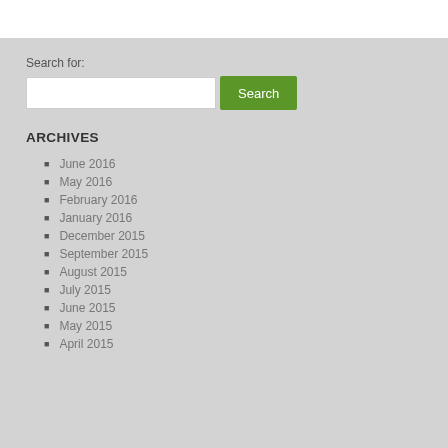Search for:
ARCHIVES
June 2016
May 2016
February 2016
January 2016
December 2015
September 2015
August 2015
July 2015
June 2015
May 2015
April 2015